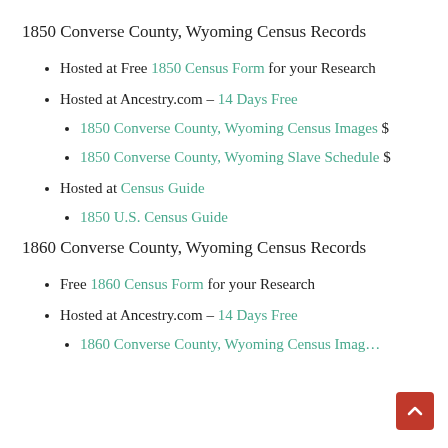1850 Converse County, Wyoming Census Records
Hosted at Free 1850 Census Form for your Research
Hosted at Ancestry.com – 14 Days Free
1850 Converse County, Wyoming Census Images $
1850 Converse County, Wyoming Slave Schedule $
Hosted at Census Guide
1850 U.S. Census Guide
1860 Converse County, Wyoming Census Records
Free 1860 Census Form for your Research
Hosted at Ancestry.com – 14 Days Free
1860 Converse County, Wyoming Census Images